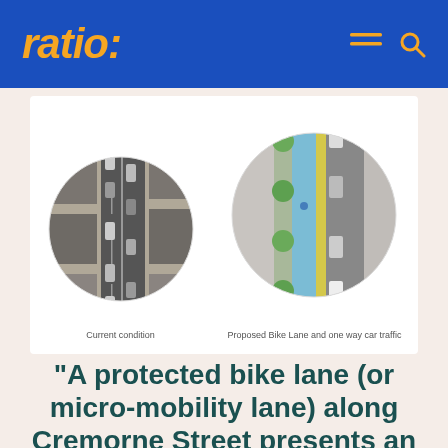ratio:
[Figure (illustration): Two circular aerial-view images side by side. Left circle shows current street condition with cars in multiple lanes. Right circle shows a proposed design with a blue bike lane, green trees/planters, and one-way car traffic. Captions below read 'Current condition' and 'Proposed Bike Lane and one way car traffic'.]
Current condition
Proposed Bike Lane and one way car traffic
“A protected bike lane (or micro-mobility lane) along Cremorne Street presents an excellent